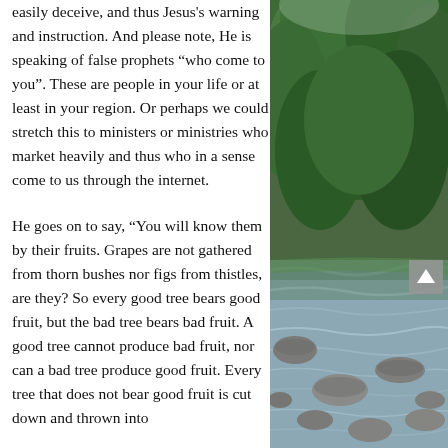easily deceive, and thus Jesus's warning and instruction. And please note, He is speaking of false prophets “who come to you”.  These are people in your life or at least in your region.  Or perhaps we could stretch this to ministers or ministries who market heavily and thus who in a sense come to us through the internet.
He goes on to say, “You will know them by their fruits. Grapes are not gathered from thorn bushes nor figs from thistles, are they?  So every good tree bears good fruit, but the bad tree bears bad fruit. A good tree cannot produce bad fruit, nor can a bad tree produce good fruit. Every tree that does not bear good fruit is cut down and thrown into
[Figure (photo): A nature photograph showing a lush green forested mountain hillside with trees and a rocky river with flowing water and large stones in the foreground.]